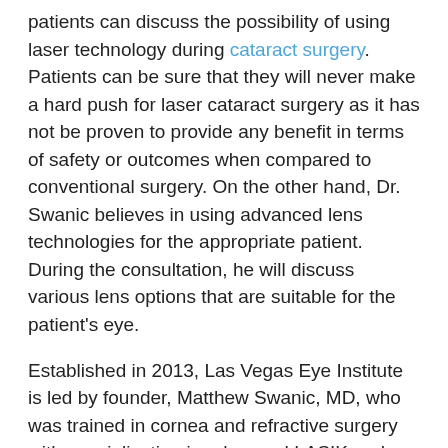patients can discuss the possibility of using laser technology during cataract surgery. Patients can be sure that they will never make a hard push for laser cataract surgery as it has not be proven to provide any benefit in terms of safety or outcomes when compared to conventional surgery. On the other hand, Dr. Swanic believes in using advanced lens technologies for the appropriate patient. During the consultation, he will discuss various lens options that are suitable for the patient's eye.
Established in 2013, Las Vegas Eye Institute is led by founder, Matthew Swanic, MD, who was trained in cornea and refractive surgery with specialization in advanced LASIK and cataract surgery during his fellowship at the University of California at Los Angeles (UCLA). He has so much faith in laser vision correction that he had photorefractive keratectomy (PRK) performed on his own eyes in 2010. He was able to get certification on the advanced Visx